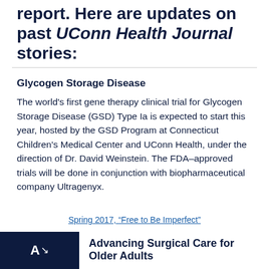report. Here are updates on past UConn Health Journal stories:
Glycogen Storage Disease
The world's first gene therapy clinical trial for Glycogen Storage Disease (GSD) Type Ia is expected to start this year, hosted by the GSD Program at Connecticut Children's Medical Center and UConn Health, under the direction of Dr. David Weinstein. The FDA–approved trials will be done in conjunction with biopharmaceutical company Ultragenyx.
Spring 2017, “Free to Be Imperfect”
[Figure (logo): Dark navy square logo with white letter A and downward arrow symbol]
Advancing Surgical Care for Older Adults